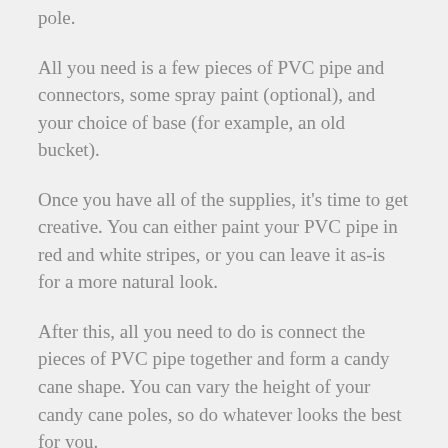pole.
All you need is a few pieces of PVC pipe and connectors, some spray paint (optional), and your choice of base (for example, an old bucket).
Once you have all of the supplies, it's time to get creative. You can either paint your PVC pipe in red and white stripes, or you can leave it as-is for a more natural look.
After this, all you need to do is connect the pieces of PVC pipe together and form a candy cane shape. You can vary the height of your candy cane poles, so do whatever looks the best for you.
Once this is done, place each pole into any type of bucket or planter to use as your base, and there